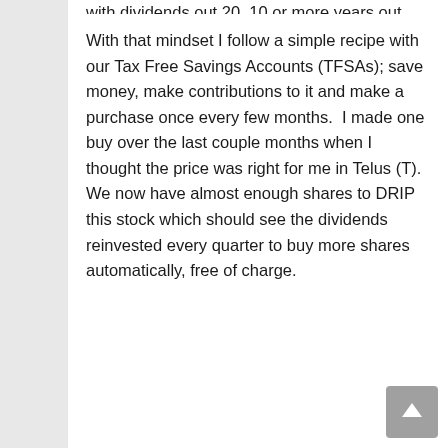With that mindset I follow a simple recipe with our Tax Free Savings Accounts (TFSAs); save money, make contributions to it and make a purchase once every few months.  I made one buy over the last couple months when I thought the price was right for me in Telus (T).  We now have almost enough shares to DRIP this stock which should see the dividends reinvested every quarter to buy more shares automatically, free of charge.